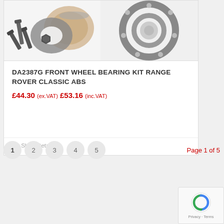[Figure (photo): Product photo of DA2387G Front Wheel Bearing Kit - left side shows bolts, gaskets, metal rings; right side shows tapered roller bearing.]
DA2387G FRONT WHEEL BEARING KIT RANGE ROVER CLASSIC ABS
£44.30 (ex.VAT) £53.16 (inc.VAT)
Show Details
1 2 3 4 5  Page 1 of 5
[Figure (logo): reCAPTCHA logo with Privacy - Terms text]